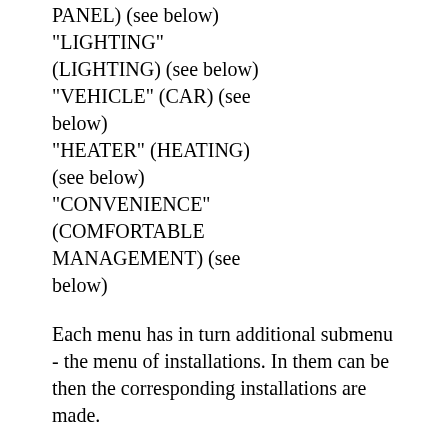PANEL) (see below) "LIGHTING" (LIGHTING) (see below) "VEHICLE" (CAR) (see below) "HEATER" (HEATING) (see below) "CONVENIENCE" (COMFORTABLE MANAGEMENT) (see below)
Each menu has in turn additional submenu - the menu of installations. In them can be then the corresponding installations are made.
3 — Dumping of the additional SETTINGS menu (INSTALLATION), request for confirmation (see below)
4 — the Confirming